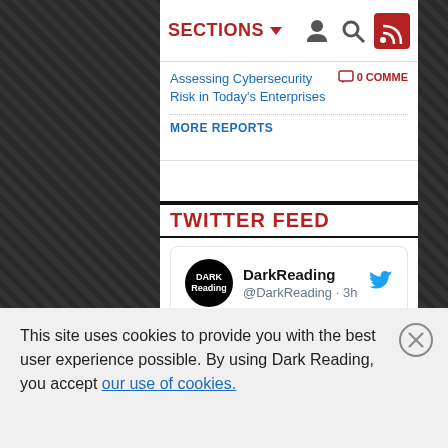SECTIONS ▼
Assessing Cybersecurity Risk in Today's Enterprises
0 COMME
MORE REPORTS
TWITTER FEED
DarkReading @DarkReading · 3h
Name That Edge Toon: Up a Tree -- What do you think our furry friends are saying? Drop us your most creative caption for August's Edge cartoon, and our panel of experts will reward the winner with a $25 Amazon gift card!
This site uses cookies to provide you with the best user experience possible. By using Dark Reading, you accept our use of cookies.